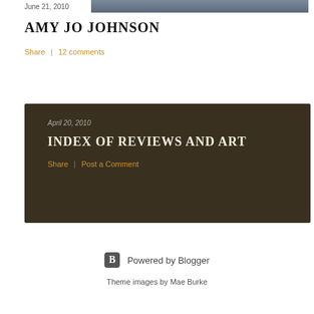June 21, 2010
[Figure (photo): Partial photo of people, cropped at top of page]
AMY JO JOHNSON
Share   12 comments
April 20, 2010
INDEX OF REVIEWS AND ART
Share   Post a Comment
Powered by Blogger
Theme images by Mae Burke